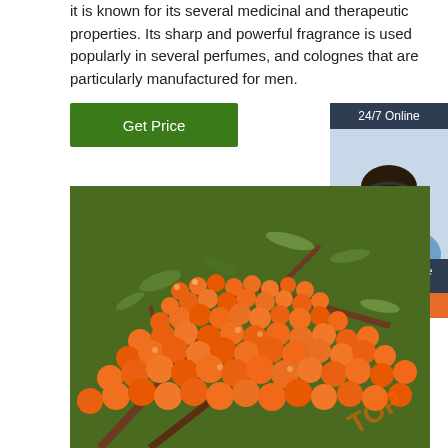it is known for its several medicinal and therapeutic properties. Its sharp and powerful fragrance is used popularly in several perfumes, and colognes that are particularly manufactured for men.
[Figure (other): Green 'Get Price' button]
[Figure (other): Customer service sidebar widget with '24/7 Online' header, photo of woman with headset, 'Click here for free chat!' text, and orange 'QUOTATION' button]
[Figure (photo): Close-up photo of bright orange sea buckthorn berries on branches with green leaves]